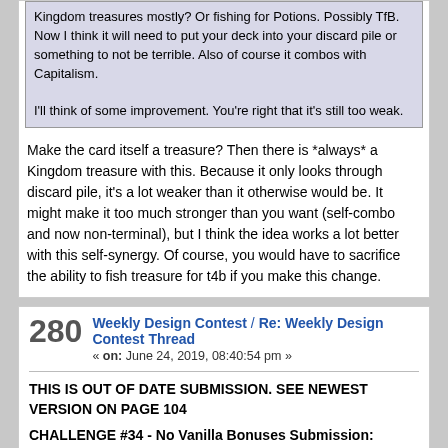Kingdom treasures mostly? Or fishing for Potions. Possibly TfB. Now I think it will need to put your deck into your discard pile or something to not be terrible. Also of course it combos with Capitalism.

I'll think of some improvement. You're right that it's still too weak.
Make the card itself a treasure? Then there is *always* a Kingdom treasure with this. Because it only looks through discard pile, it's a lot weaker than it otherwise would be. It might make it too much stronger than you want (self-combo and now non-terminal), but I think the idea works a lot better with this self-synergy. Of course, you would have to sacrifice the ability to fish treasure for t4b if you make this change.
280
Weekly Design Contest / Re: Weekly Design Contest Thread
« on: June 24, 2019, 08:40:54 pm »
THIS IS OUT OF DATE SUBMISSION. SEE NEWEST VERSION ON PAGE 104
CHALLENGE #34 - No Vanilla Bonuses Submission:
Quote
| Consul |
| Type: Action |
| Cost: $4 |
|  |
| Trash a card from your hand. The player to your left chooses an action card costing more than it for you to gain and play. |